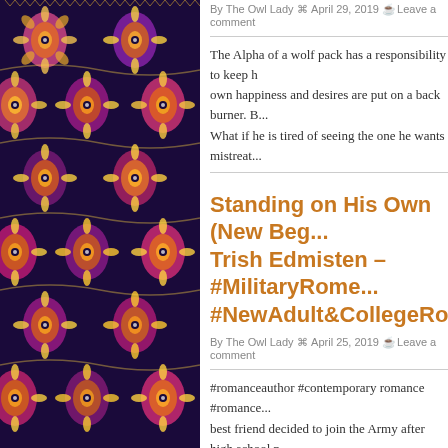[Figure (illustration): Decorative African/geometric patterned fabric with colorful owl-eye motifs in purple, pink, yellow, black]
By The Owl Lady  April 29, 2019  Leave a comment
The Alpha of a wolf pack has a responsibility to keep h... own happiness and desires are put on a back burner. B... What if he is tired of seeing the one he wants mistreat...
Standing on His Own (New Beg... Trish Edmisten – #MilitaryRome... #NewAdult&CollegeRomance
By The Owl Lady  April 25, 2019  Leave a comment
#romanceauthor #contemporary romance #romance... best friend decided to join the Army after high school p... would join too. Best friends since kindergarten, the tw... this was no different. A routine mission changed their... while Joel...
Viral Dawn: (Viral Series Book T... #ParanormalSuspense, #Dysto...